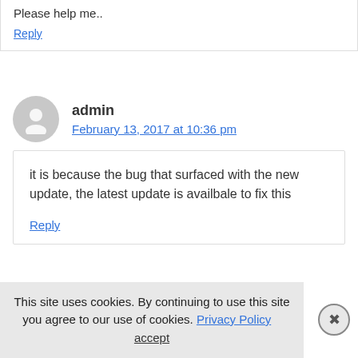Please help me..
Reply
admin
February 13, 2017 at 10:36 pm
it is because the bug that surfaced with the new update, the latest update is availbale to fix this
Reply
This site uses cookies. By continuing to use this site you agree to our use of cookies. Privacy Policy   accept